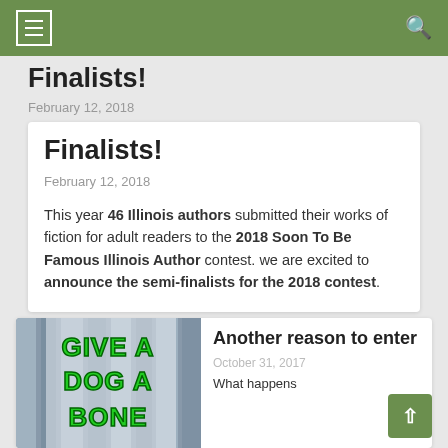[Figure (screenshot): Green navigation bar with hamburger menu icon on left and search icon on right]
Finalists!
February 12, 2018
This year 46 Illinois authors submitted their works of fiction for adult readers to the 2018 Soon To Be Famous Illinois Author contest. we are excited to announce the semi-finalists for the 2018 contest.
[Figure (photo): Book cover showing GIVE A DOG A BONE in large green bubble letters on a striped curtain background]
Another reason to enter
October 31, 2017
What happens